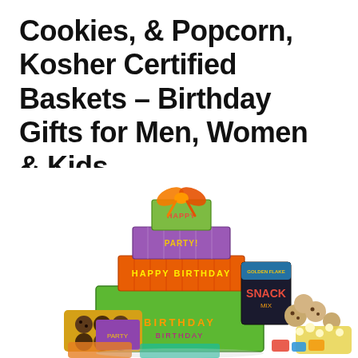Cookies, & Popcorn, Kosher Certified Baskets – Birthday Gifts for Men, Women & Kids
[Figure (photo): A stacked tower of colorful birthday gift boxes labeled 'PARTY' and 'BIRTHDAY', decorated with an orange ribbon on top, surrounded by chocolate cookies, popcorn, snack bags, and assorted treats at the base.]